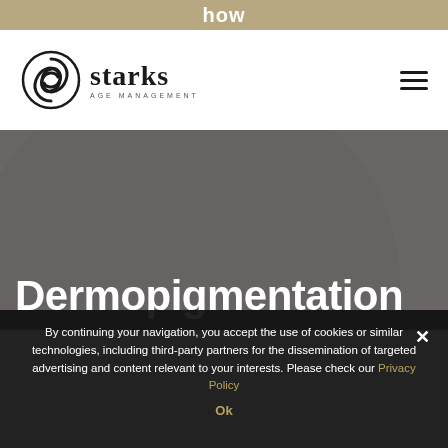how
[Figure (logo): Starks Age Management logo with swirl emblem and brand name]
Dermopigmentation
By continuing your navigation, you accept the use of cookies or similar technologies, including third-party partners for the dissemination of targeted advertising and content relevant to your interests. Please check our Privacy Policy
Ok